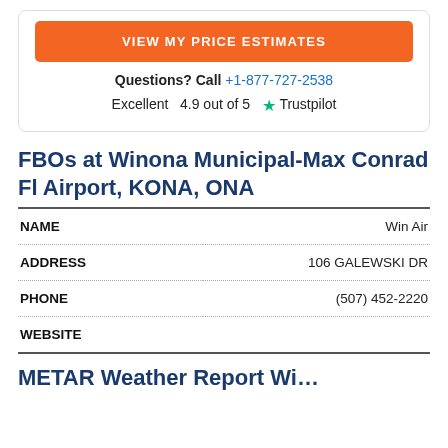[Figure (other): Orange button labeled VIEW MY PRICE ESTIMATES]
Questions? Call +1-877-727-2538
Excellent  4.9 out of 5  ★ Trustpilot
FBOs at Winona Municipal-Max Conrad Fl Airport, KONA, ONA
| NAME |  |
| --- | --- |
| NAME | Win Air |
| ADDRESS | 106 GALEWSKI DR |
| PHONE | (507) 452-2220 |
| WEBSITE |  |
METAR Weather Report Wi…